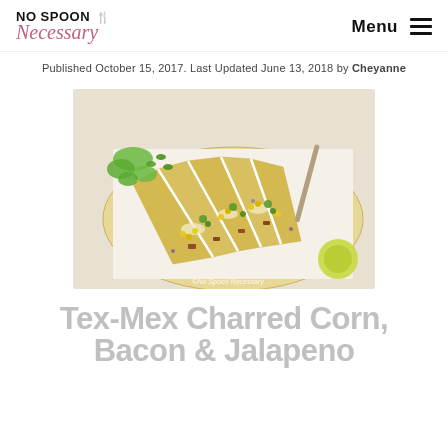NO SPOON Necessary — Menu
Published October 15, 2017. Last Updated June 13, 2018 by Cheyanne
[Figure (photo): Flatbread pizza sliced into wedge pieces topped with charred corn, bacon, jalapeno, and greens, photographed from above on white parchment with a knife and lime wedge visible. Watermark: ©No Spoon Necessary]
Tex-Mex Charred Corn, Bacon & Jalapeno